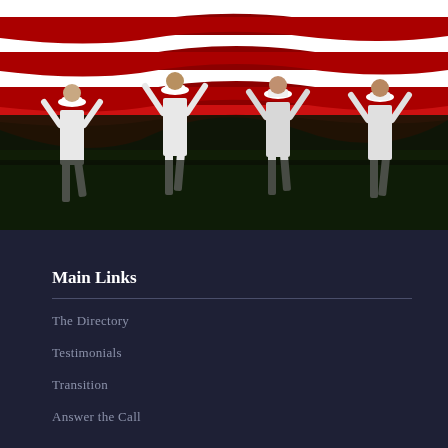[Figure (photo): Navy sailors in white uniforms carrying a large American flag (red and white stripes visible) across a green field. Four sailors are visible holding the flag overhead, walking in formation.]
Main Links
The Directory
Testimonials
Transition
Answer the Call